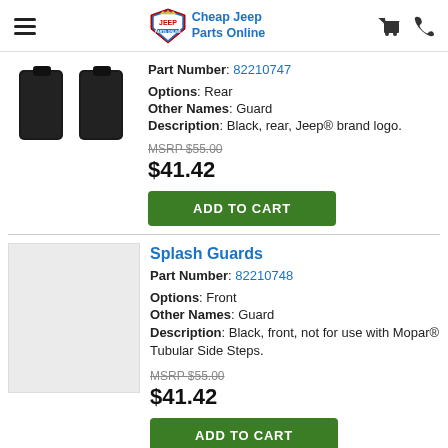Cheap Jeep Parts Online
Part Number: 82210747
Options: Rear
Other Names: Guard
Description: Black, rear, Jeep® brand logo.
MSRP $55.00
$41.42
ADD TO CART
Splash Guards
Part Number: 82210748
Options: Front
Other Names: Guard
Description: Black, front, not for use with Mopar® Tubular Side Steps.
MSRP $55.00
$41.42
ADD TO CART